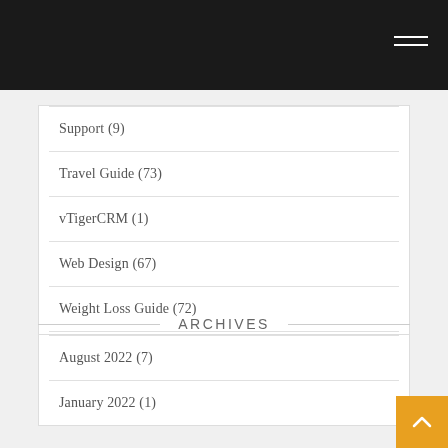Support (9)
Travel Guide (73)
vTigerCRM (1)
Web Design (67)
Weight Loss Guide (72)
ARCHIVES
August 2022 (7)
January 2022 (1)